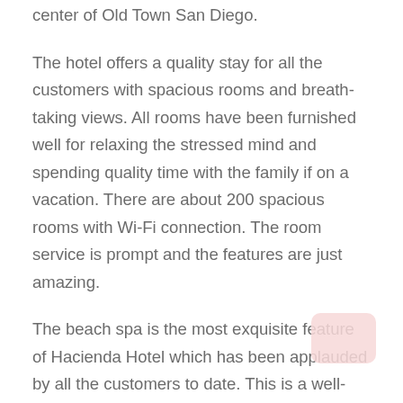center of Old Town San Diego.
The hotel offers a quality stay for all the customers with spacious rooms and breath-taking views. All rooms have been furnished well for relaxing the stressed mind and spending quality time with the family if on a vacation. There are about 200 spacious rooms with Wi-Fi connection. The room service is prompt and the features are just amazing.
The beach spa is the most exquisite feature of Hacienda Hotel which has been applauded by all the customers to date. This is a well-starred hotel complete with an outdoor pool and a fully equipped gym with a day spa and massage center. There is also a huge hall for banquets or business meetings and conferences. The rooms are fully air-conditioned and come with amenities. This place is a...